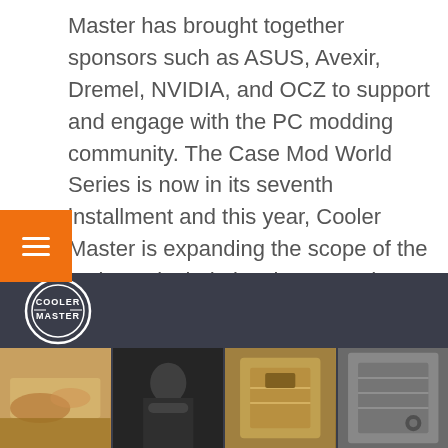Master has brought together sponsors such as ASUS, Avexir, Dremel, NVIDIA, and OCZ to support and engage with the PC modding community. The Case Mod World Series is now in its seventh installment and this year, Cooler Master is expanding the scope of the series to include local meet and greets, and modding sessions. To learn more or to participate, visit: Case Mod World Series 2016.
[Figure (other): Cooler Master branded dark banner with logo and three panel photo strip showing PC modding/case mod workshop scenes]